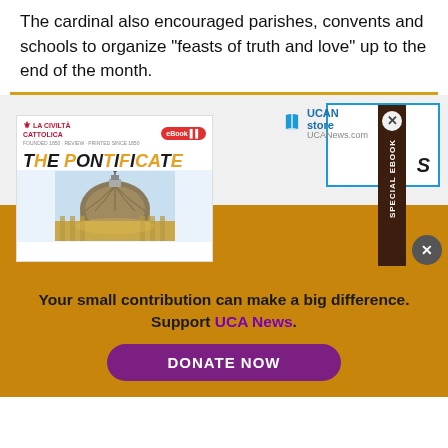The cardinal also encouraged parishes, convents and schools to organize "feasts of truth and love" up to the end of the month.
[Figure (screenshot): Advertisement area showing La Civiltà Cattolica 'The Pontificate' ebook advertisement with a dome image, UCAN store logo, a dark brown sidebar reading 'SPECIAL EBOOK', and the word 'Asia' visible on the right side.]
Your small contribution can make a big difference. Support UCA News.
DONATE NOW